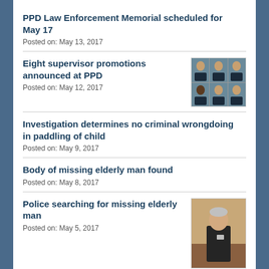PPD Law Enforcement Memorial scheduled for May 17
Posted on: May 13, 2017
Eight supervisor promotions announced at PPD
Posted on: May 12, 2017
[Figure (photo): Grid of 6 police officer headshot photos, 3 columns x 2 rows]
Investigation determines no criminal wrongdoing in paddling of child
Posted on: May 9, 2017
Body of missing elderly man found
Posted on: May 8, 2017
Police searching for missing elderly man
Posted on: May 5, 2017
[Figure (photo): Photo of an elderly man standing indoors]